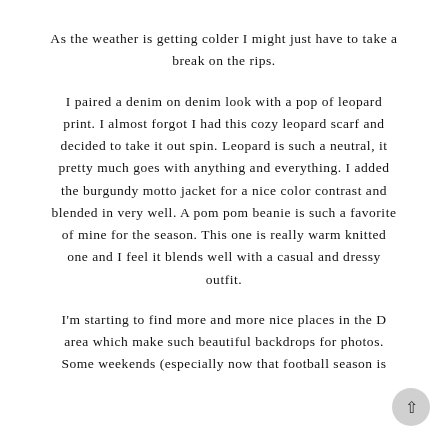As the weather is getting colder I might just have to take a break on the rips.
I paired a denim on denim look with a pop of leopard print. I almost forgot I had this cozy leopard scarf and decided to take it out spin. Leopard is such a neutral, it pretty much goes with anything and everything. I added the burgundy motto jacket for a nice color contrast and blended in very well. A pom pom beanie is such a favorite of mine for the season. This one is really warm knitted one and I feel it blends well with a casual and dressy outfit.
I'm starting to find more and more nice places in the D area which make such beautiful backdrops for photos. Some weekends (especially now that football season is